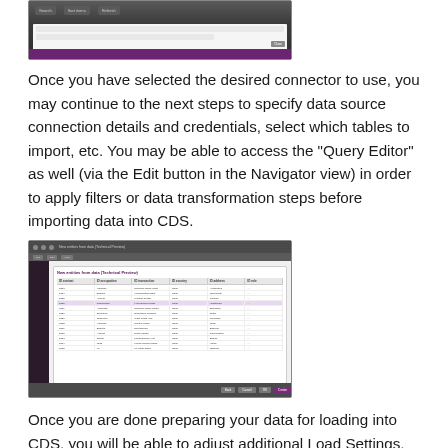[Figure (screenshot): Screenshot of a dialog window with dark theme, showing connector selection UI with tab buttons and a close button]
Once you have selected the desired connector to use, you may continue to the next steps to specify data source connection details and credentials, select which tables to import, etc. You may be able to access the “Query Editor” as well (via the Edit button in the Navigator view) in order to apply filters or data transformation steps before importing data into CDS.
[Figure (screenshot): Screenshot of a ‘New entities from data (Technical Preview)’ dialog in a dark-themed application, showing a data table with multiple columns and rows, with a purple confirm button at the bottom right]
Once you are done preparing your data for loading into CDS, you will be able to adjust additional Load Settings, including Refresh behavior and entity specific settings (i.e., Display